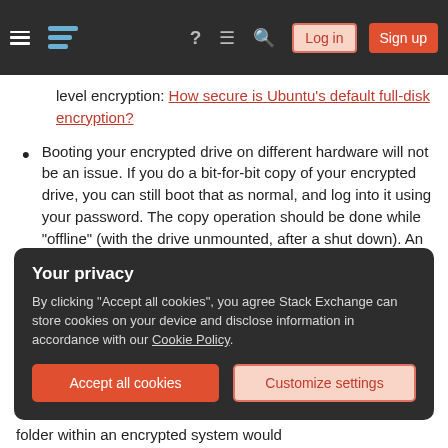Stack Exchange navigation bar with hamburger menu, logo, help, chat, search icons, Log in and Sign up buttons
level encryption: How secure is Ubuntu's default full-disk encryption?
Booting your encrypted drive on different hardware will not be an issue. If you do a bit-for-bit copy of your encrypted drive, you can still boot that as normal, and log into it using your password. The copy operation should be done while "offline" (with the drive unmounted, after a shut down). An on-line data grab is unlikely to work, but I'm not 100% certain.
Your privacy
By clicking "Accept all cookies", you agree Stack Exchange can store cookies on your device and disclose information in accordance with our Cookie Policy.
Accept all cookies   Customize settings
folder within an encrypted system would